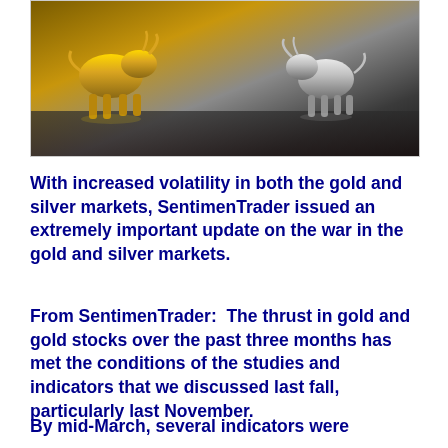[Figure (photo): Gold and silver bull figurines facing each other on a reflective dark surface. The gold bull is on the left and the silver bull is on the right.]
With increased volatility in both the gold and silver markets, SentimenTrader issued an extremely important update on the war in the gold and silver markets.
From SentimenTrader:  The thrust in gold and gold stocks over the past three months has met the conditions of the studies and indicators that we discussed last fall, particularly last November.
By mid-March, several indicators were